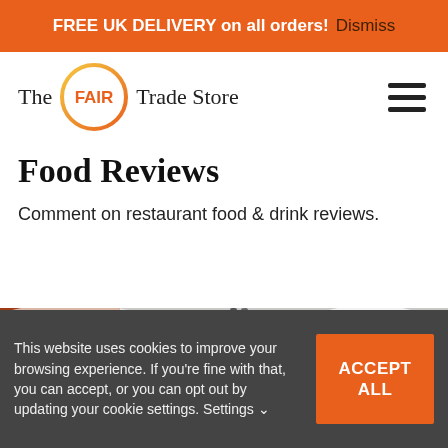FREE UK DELIVERY on all orders! Dismiss
[Figure (logo): The FAIR Trade Store logo — text with FAIR in orange circle]
Food Reviews
Comment on restaurant food & drink reviews.
[Figure (photo): Partial photo of food dishes with a fork, bowl of food, and white plate visible]
This website uses cookies to improve your browsing experience. If you're fine with that, you can accept, or you can opt out by updating your cookie settings. Settings ˅